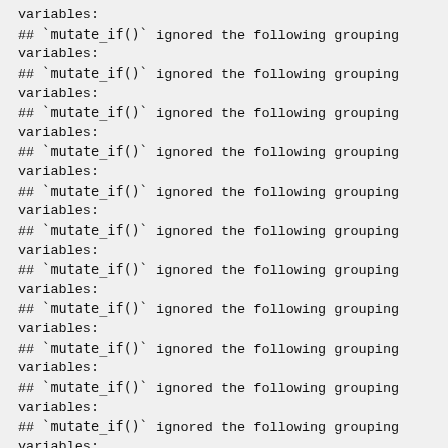variables:
## `mutate_if()` ignored the following grouping variables:
## `mutate_if()` ignored the following grouping variables:
## `mutate_if()` ignored the following grouping variables:
## `mutate_if()` ignored the following grouping variables:
## `mutate_if()` ignored the following grouping variables:
## `mutate_if()` ignored the following grouping variables:
## `mutate_if()` ignored the following grouping variables:
## `mutate_if()` ignored the following grouping variables:
## `mutate_if()` ignored the following grouping variables:
## `mutate_if()` ignored the following grouping variables:
## `mutate_if()` ignored the following grouping variables:
## `mutate_if()` ignored the following grouping variables: